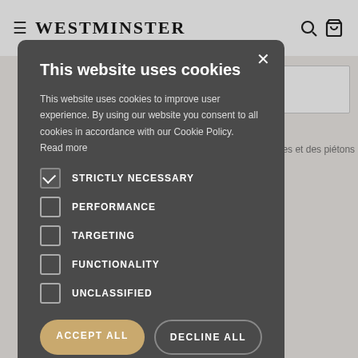WESTMINSTER
This website uses cookies
This website uses cookies to improve user experience. By using our website you consent to all cookies in accordance with our Cookie Policy. Read more
STRICTLY NECESSARY (checked)
PERFORMANCE
TARGETING
FUNCTIONALITY
UNCLASSIFIED
ACCEPT ALL
DECLINE ALL
SHOW DETAILS